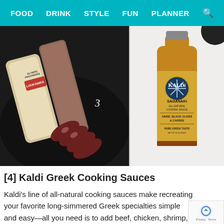FOOD  DRINK  STYLE  FUN  PLANNER  [search]
[Figure (photo): Left photo: Olympic Provisions Loukanika salami on a dark slate board, sliced, with a number 3 circle label. Right photo: Kaldi Saganaki All-Natural Cooking Sauce bottle with yellow label reading SAGANAKI ALL-NATURAL COOKING SAUCE, ANISE, BLACK OLIVES & CAPERS, PURE GREEK TASTE.]
[4] Kaldi Greek Cooking Sauces
Kaldi's line of all-natural cooking sauces make re... your favorite long-simmered Greek specialties si... and easy—all you need is to add beef, chicken, shrimp, or